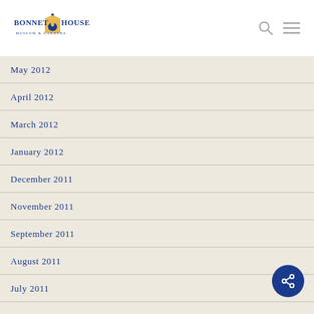Bonnet House Museum & Gardens
May 2012
April 2012
March 2012
January 2012
December 2011
November 2011
September 2011
August 2011
July 2011